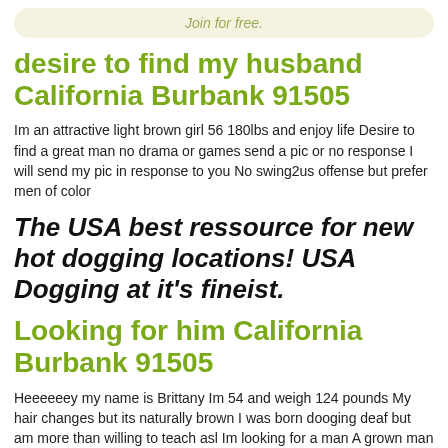Join for free.
desire to find my husband California Burbank 91505
Im an attractive light brown girl 56 180lbs and enjoy life Desire to find a great man no drama or games send a pic or no response I will send my pic in response to you No swing2us offense but prefer men of color
The USA best ressource for new hot dogging locations! USA Dogging at it's fineist.
Looking for him California Burbank 91505
Heeeeeey my name is Brittany Im 54 and weigh 124 pounds My hair changes but its naturally brown I was born dooging deaf but am more than willing to teach asl Im looking for a man A grown man